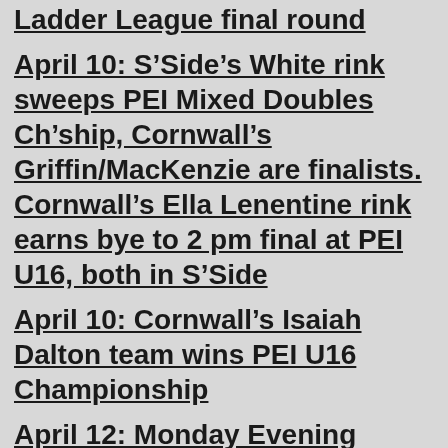Ladder League final round
April 10: S’Side’s White rink sweeps PEI Mixed Doubles Ch’ship, Cornwall’s Griffin/MacKenzie are finalists. Cornwall’s Ella Lenentine rink earns bye to 2 pm final at PEI U16, both in S’Side
April 10: Cornwall’s Isaiah Dalton team wins PEI U16 Championship
April 12: Monday Evening Mixed League wraps up with Brad Gardiner rink winning the round, sponsored by Clow’s Red and White!!
April 13: Sunday Doubles Winners! Thank